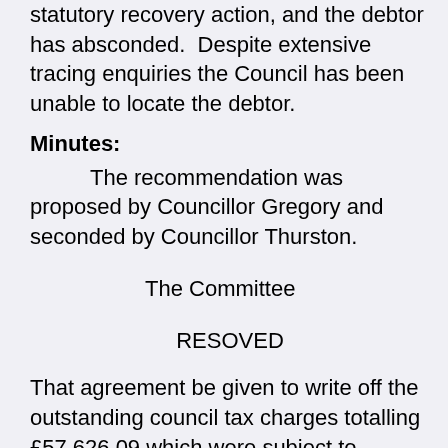statutory recovery action, and the debtor has absconded. Despite extensive tracing enquiries the Council has been unable to locate the debtor.
Minutes:
The recommendation was proposed by Councillor Gregory and seconded by Councillor Thurston.
The Committee
RESOVED
That agreement be given to write off the outstanding council tax charges totalling £57,626.09 which were subject to